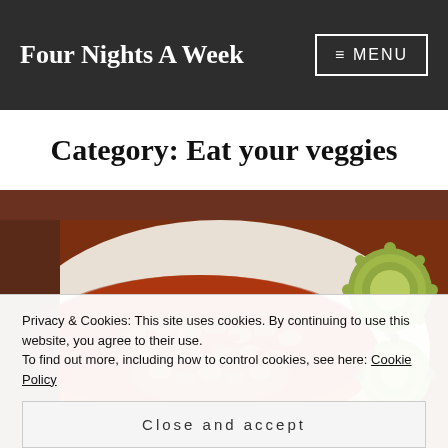Four Nights A Week  ≡ MENU
Category: Eat your veggies
[Figure (photo): Overhead photo of baked beans on toast on a white plate, with pickle slices on the side]
Privacy & Cookies: This site uses cookies. By continuing to use this website, you agree to their use.
To find out more, including how to control cookies, see here: Cookie Policy
Close and accept